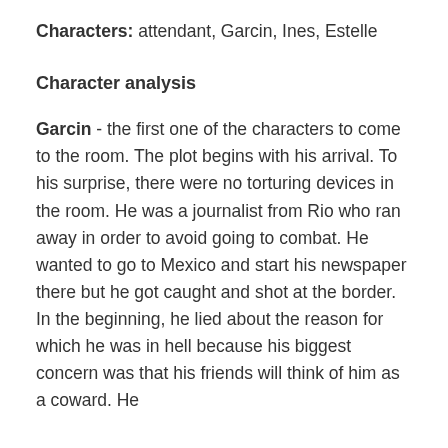Characters: attendant, Garcin, Ines, Estelle
Character analysis
Garcin - the first one of the characters to come to the room. The plot begins with his arrival. To his surprise, there were no torturing devices in the room. He was a journalist from Rio who ran away in order to avoid going to combat. He wanted to go to Mexico and start his newspaper there but he got caught and shot at the border. In the beginning, he lied about the reason for which he was in hell because his biggest concern was that his friends will think of him as a coward. He